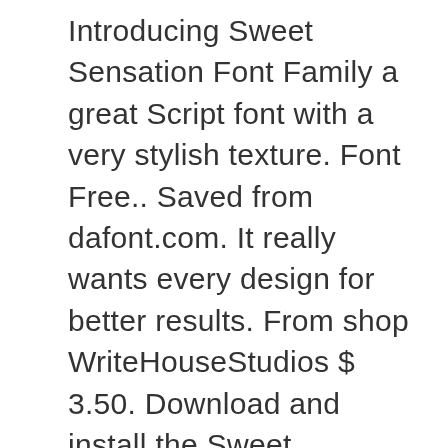Introducing Sweet Sensation Font Family a great Script font with a very stylish texture. Font Free.. Saved from dafont.com. It really wants every design for better results. From shop WriteHouseStudios $ 3.50. Download and install the Sweet Sensations Personal Use font for free from FFonts.net. $120,000+ worth of fonts, graphics and more. Create Something Sweet with Hentges FREE Typeface. Career. Tag: sweet sensation font. DOWNLOAD $ Free Personal Use Captain Redemption font. Sweet Sensations font details. Billy Argel. Each character of this various font has featured a unique touch as you can notice in pictures. If used with subtlety, the font can bring the best